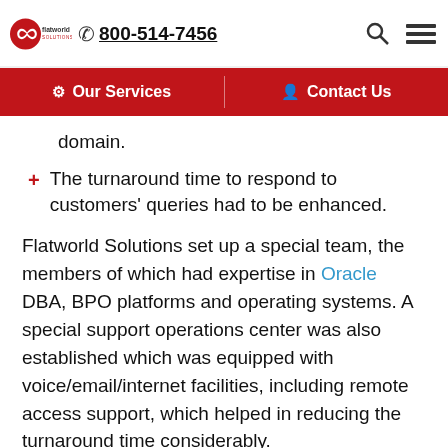flatworld solutions | 800-514-7456
Our Services | Contact Us
domain.
The turnaround time to respond to customers' queries had to be enhanced.
Flatworld Solutions set up a special team, the members of which had expertise in Oracle DBA, BPO platforms and operating systems. A special support operations center was also established which was equipped with voice/email/internet facilities, including remote access support, which helped in reducing the turnaround time considerably.
The following technical support services were outsourced to Flatworld Solutions -